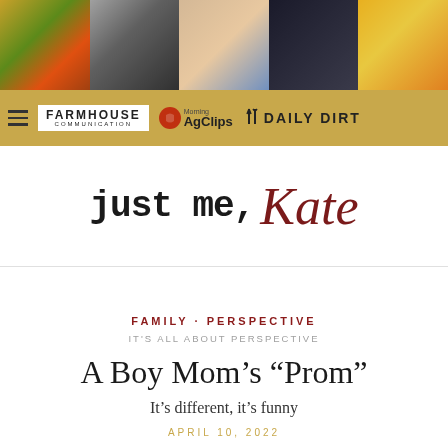[Figure (photo): A horizontal photo strip with five images: a red barn at sunset, a person typing at a typewriter, a smiling woman with blonde hair outdoors, a woman in dark clothing, and a sunflower field.]
FARMHOUSE COMMUNICATION | Morning AgClips | DAILY DIRT
just me, Kate
FAMILY · PERSPECTIVE
IT'S ALL ABOUT PERSPECTIVE
A Boy Mom's "Prom"
It's different, it's funny
APRIL 10, 2022